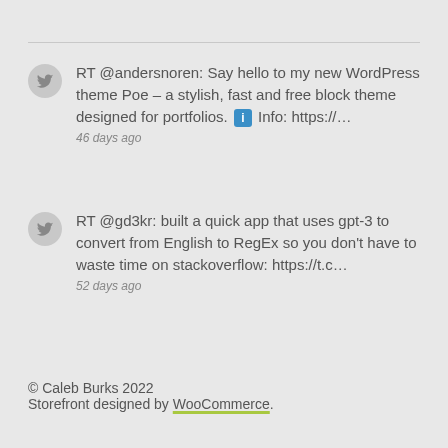RT @andersnoren: Say hello to my new WordPress theme Poe – a stylish, fast and free block theme designed for portfolios. ℹ Info: https://…
46 days ago
RT @gd3kr: built a quick app that uses gpt-3 to convert from English to RegEx so you don't have to waste time on stackoverflow: https://t.c…
52 days ago
© Caleb Burks 2022
Storefront designed by WooCommerce.